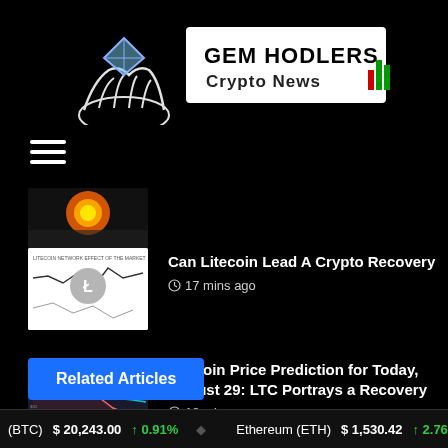[Figure (logo): GEM HODLERS Crypto News logo with hands holding a gem and trading charts]
[Figure (illustration): Hamburger menu icon (three horizontal lines)]
[Figure (photo): Fiery orange and red image thumbnail for top article]
[Figure (photo): Litecoin chart thumbnail showing price graph with Litecoin logo]
Can Litecoin Lead A Crypto Recovery
17 mins ago
[Figure (photo): Litecoin price chart thumbnail showing descending line with colored indicators]
Litecoin Price Prediction for Today, August 29: LTC Portrays a Recovery
18 mins ago
Related Articles
Bitcoin (BTC) $20,243.00 ↑0.91%  Ethereum (ETH) $1,530.42 ↑2.76%